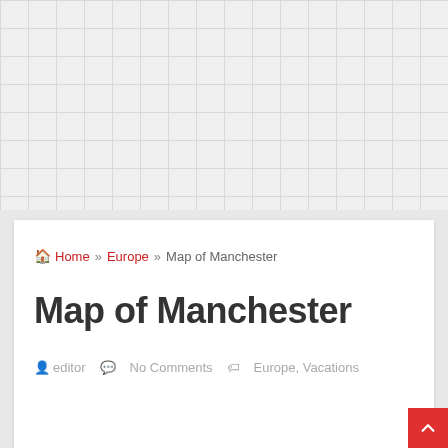Home » Europe » Map of Manchester
Map of Manchester
editor   No Comments   Europe, Vacations